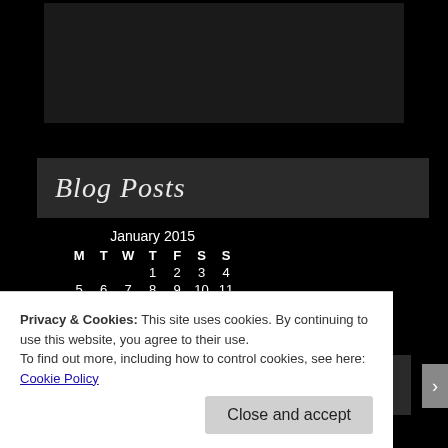[Figure (photo): Dark rectangular image area in a black sidebar]
Blog Posts
| M | T | W | T | F | S | S |
| --- | --- | --- | --- | --- | --- | --- |
|  |  |  | 1 | 2 | 3 | 4 |
| 5 | 6 | 7 | 8 | 9 | 10 | 11 |
| 12 | 13 | 14 | 15 | 16 | 17 | 18 |
| 19 | 20 | 21 | 22 | 23 | 24 | 25 |
| 26 | 27 | 28 | 29 | 30 | 31 |  |
My Communities
Privacy & Cookies: This site uses cookies. By continuing to use this website, you agree to their use. To find out more, including how to control cookies, see here: Cookie Policy
Close and accept